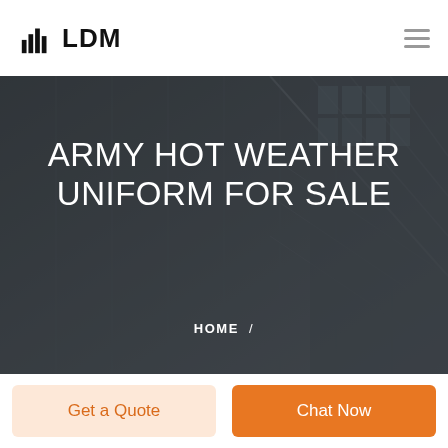[Figure (logo): LDM logo with building/bar chart icon and bold LDM text]
[Figure (screenshot): Hero banner image of building architecture, dark overlay, title ARMY HOT WEATHER UNIFORM FOR SALE, breadcrumb HOME /]
ARMY HOT WEATHER UNIFORM FOR SALE
HOME  /
Get a Quote
Chat Now